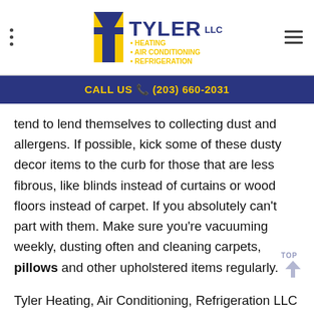Tyler LLC - Heating, Air Conditioning, Refrigeration
CALL US (203) 660-2031
tend to lend themselves to collecting dust and allergens. If possible, kick some of these dusty decor items to the curb for those that are less fibrous, like blinds instead of curtains or wood floors instead of carpet. If you absolutely can't part with them. Make sure you're vacuuming weekly, dusting often and cleaning carpets, pillows and other upholstered items regularly.
Tyler Heating, Air Conditioning, Refrigeration LLC is a full-service heating and air conditioning and installation contractor. From duct sealing and